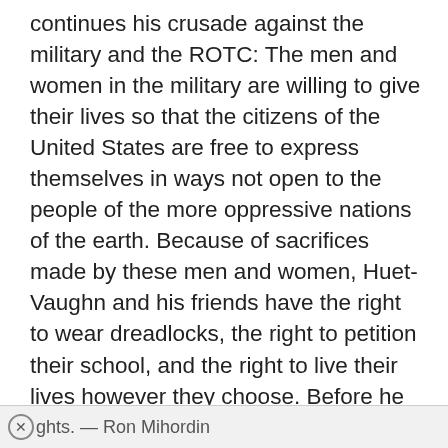continues his crusade against the military and the ROTC: The men and women in the military are willing to give their lives so that the citizens of the United States are free to express themselves in ways not open to the people of the more oppressive nations of the earth. Because of sacrifices made by these men and women, Huet-Vaughn and his friends have the right to wear dreadlocks, the right to petition their school, and the right to live their lives however they choose. Before he criticizes the military and the ROTC so harshly, he should consider whether he would be willing to make a similar sacrifice in defense of his constitutional
rights. — Ron Mihordin